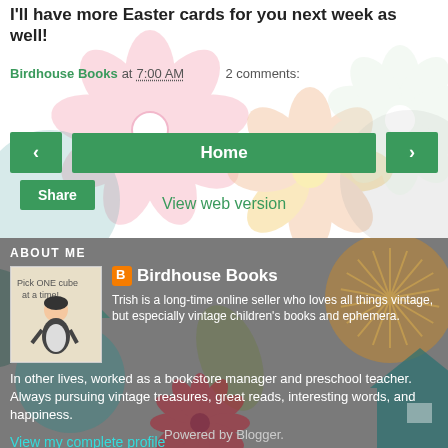I'll have more Easter cards for you next week as well!
Birdhouse Books at 7:00 AM   2 comments:
Share
Home
View web version
ABOUT ME
Birdhouse Books
Trish is a long-time online seller who loves all things vintage, but especially vintage children's books and ephemera. In other lives, worked as a bookstore manager and preschool teacher. Always pursuing vintage treasures, great reads, interesting words, and happiness.
View my complete profile
Powered by Blogger.